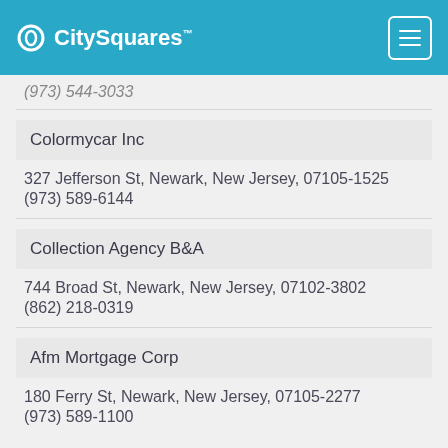CitySquares
(973) 544-3033
Colormycar Inc
327 Jefferson St, Newark, New Jersey, 07105-1525
(973) 589-6144
Collection Agency B&A
744 Broad St, Newark, New Jersey, 07102-3802
(862) 218-0319
Afm Mortgage Corp
180 Ferry St, Newark, New Jersey, 07105-2277
(973) 589-1100